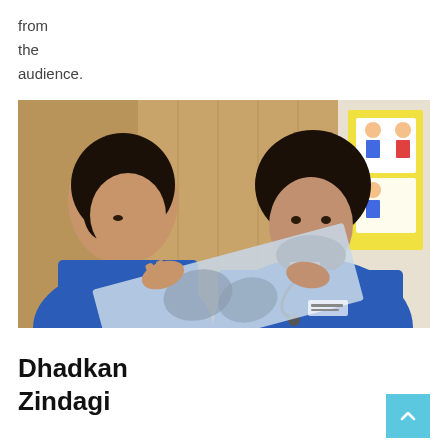from the audience.
[Figure (photo): Two medical professionals in blue scrubs examining an X-ray or medical imaging film together in a clinical setting. A yellow bulletin board is visible in the background.]
Dhadkan Zindagi